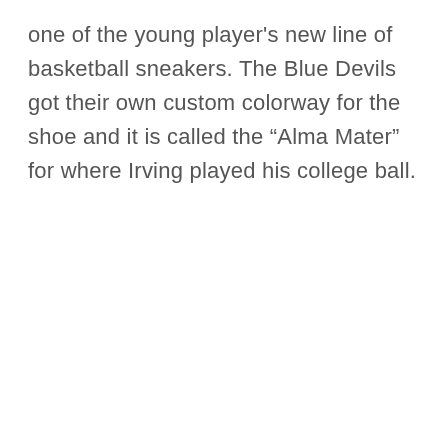one of the young player's new line of basketball sneakers. The Blue Devils got their own custom colorway for the shoe and it is called the “Alma Mater” for where Irving played his college ball.